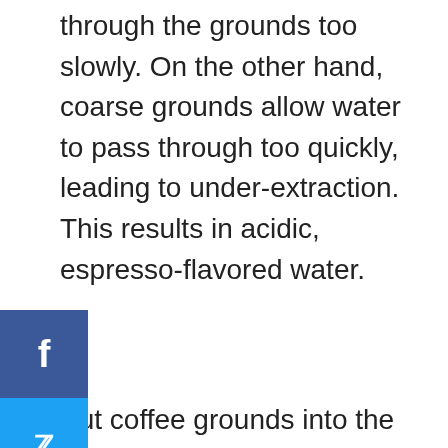through the grounds too slowly. On the other hand, coarse grounds allow water to pass through too quickly, leading to under-extraction. This results in acidic, espresso-flavored water.
Put coffee grounds into the reusable pod.
Pack in the coffee with a tamper.
5. Close the pod
6. Pop the pod into your Nespresso machine and start brewing.